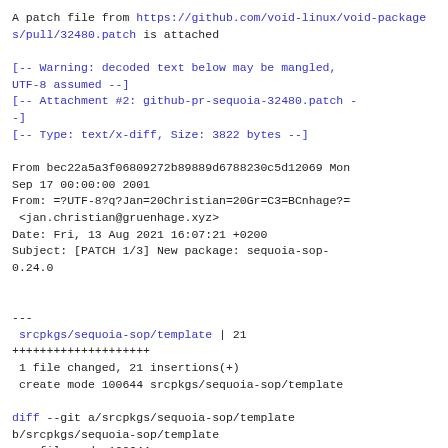A patch file from https://github.com/void-linux/void-packages/pull/32480.patch is attached

[-- Warning: decoded text below may be mangled, UTF-8 assumed --]
[-- Attachment #2: github-pr-sequoia-32480.patch --]
[-- Type: text/x-diff, Size: 3822 bytes --]

From bec22a5a3f06809272b89889d6788230c5d12069 Mon Sep 17 00:00:00 2001
From: =?UTF-8?q?Jan=20Christian=20Gr=C3=BCnhage?=
 <jan.christian@gruenhage.xyz>
Date: Fri, 13 Aug 2021 16:07:21 +0200
Subject: [PATCH 1/3] New package: sequoia-sop-0.24.0


---
 srcpkgs/sequoia-sop/template | 21
++++++++++++++++++++
 1 file changed, 21 insertions(+)
 create mode 100644 srcpkgs/sequoia-sop/template

diff --git a/srcpkgs/sequoia-sop/template b/srcpkgs/sequoia-sop/template
new file mode 100644
index 000000000000..2454d03aef9c
--- /dev/null
+++ b/srcpkgs/sequoia-sop/template
@@ -0,0 +1,21 @@